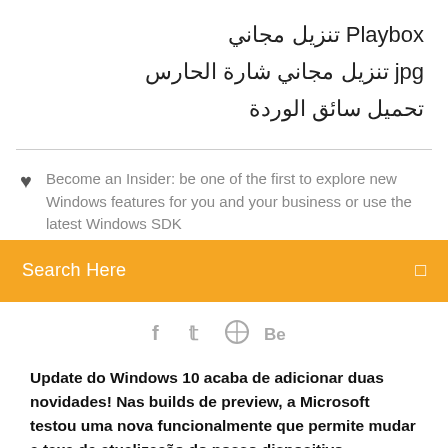تنزيل مجاني Playbox
jpg تنزيل مجاني شارة الحارس
تحميل سائق الوردة
Become an Insider: be one of the first to explore new Windows features for you and your business or use the latest Windows SDK
Search Here
[Figure (infographic): Social media icons row: Facebook (f), Twitter bird, dribbble/wheel, Behance (Be)]
Update do Windows 10 acaba de adicionar duas novidades! Nas builds de preview, a Microsoft testou uma nova funcionalmente que permite mudar a taxa de atualização do nosso dispositivo.
In Internet Explorer, click Tools, and then click Internet Options. On the Security tab, click the Trusted Sites icon. Click Sites and then add these